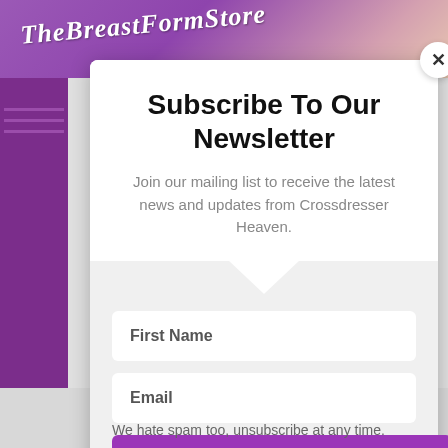[Figure (screenshot): TheBreastFormStore banner with logo text in italic script over purple/skin-tone gradient background]
Subscribe To Our Newsletter
Join our mailing list to receive the latest news and updates from Crossdresser Heaven.
First Name
Email
SUBSCRIBE!
We hate spam too, unsubscribe at any time.